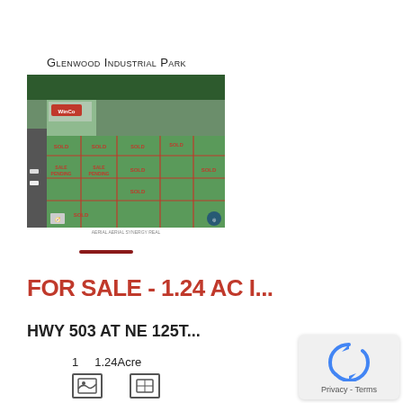Glenwood Industrial Park
[Figure (photo): Aerial photograph of Glenwood Industrial Park showing multiple lots with red overlaid boundaries and status labels such as SOLD, SALE PENDING in red text. WinCo Foods visible in upper left corner.]
AERIAL AERIAL SYNERGY REAL
FOR SALE - 1.24 AC I...
HWY 503 AT NE 125T...
1    1.24Acre